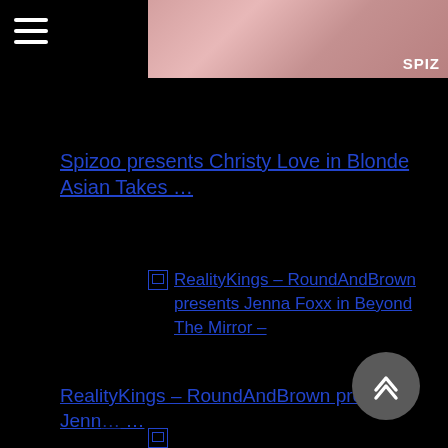[Figure (photo): Partial face/head photo at top of page with SPIZ watermark text in white]
Spizoo presents Christy Love in Blonde Asian Takes …
RealityKings – RoundAndBrown presents Jenna Foxx in Beyond The Mirror –
RealityKings – RoundAndBrown presents Jenn… …
[broken image link]